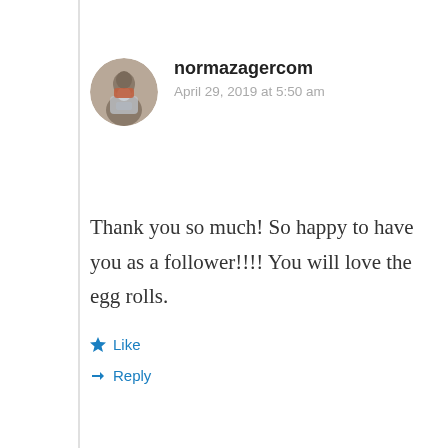[Figure (photo): Circular avatar photo of normazagercom showing a person with R2-D2 costume]
normazagercom
April 29, 2019 at 5:50 am
Thank you so much! So happy to have you as a follower!!!! You will love the egg rolls.
Like
Reply
[Figure (illustration): Circular avatar with yellow mandala/flower pattern for Lynn Rosen Caradonna]
Lynn Rosen Caradonna
January 23, 2020 at 2:38 am